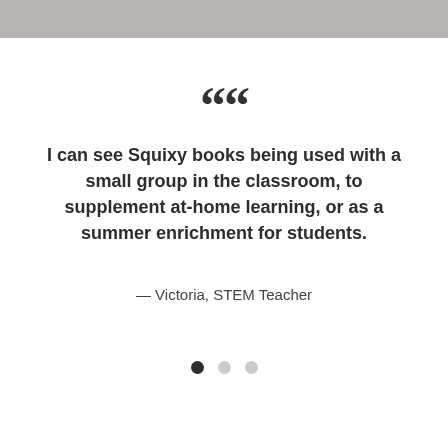““
I can see Squixy books being used with a small group in the classroom, to supplement at-home learning, or as a summer enrichment for students.
— Victoria, STEM Teacher